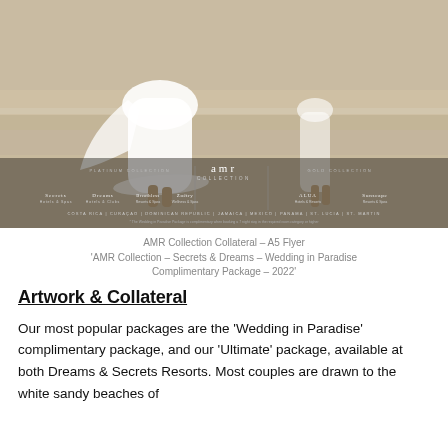[Figure (photo): Wedding couple walking on a sandy beach. The woman is in a white wedding dress. Brand overlay at the bottom shows AMR Collection with Platinum and Gold collection sub-brands: Secrets, Dreams, Breathless, Zoetry, Alua, Sunscape.]
AMR Collection Collateral – A5 Flyer
'AMR Collection – Secrets & Dreams – Wedding in Paradise Complimentary Package – 2022'
Artwork & Collateral
Our most popular packages are the 'Wedding in Paradise' complimentary package, and our 'Ultimate' package, available at both Dreams & Secrets Resorts. Most couples are drawn to the white sandy beaches of